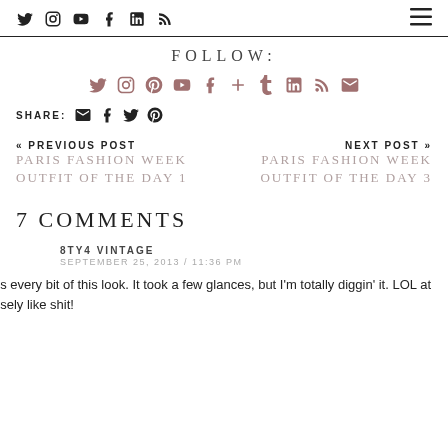Social media icons (Twitter, Instagram, YouTube, Facebook, LinkedIn, RSS) and hamburger menu
FOLLOW:
Follow icons: Twitter, Instagram, Pinterest, YouTube, Facebook, Plus, Tumblr, LinkedIn, RSS, Email
SHARE: Email, Facebook, Twitter, Pinterest
« PREVIOUS POST
PARIS FASHION WEEK OUTFIT OF THE DAY 1
NEXT POST »
PARIS FASHION WEEK OUTFIT OF THE DAY 3
7 COMMENTS
8TY4 VINTAGE
SEPTEMBER 25, 2013 / 11:36 PM
Loves every bit of this look. It took a few glances, but I'm totally diggin' it. LOL at precisely like shit!